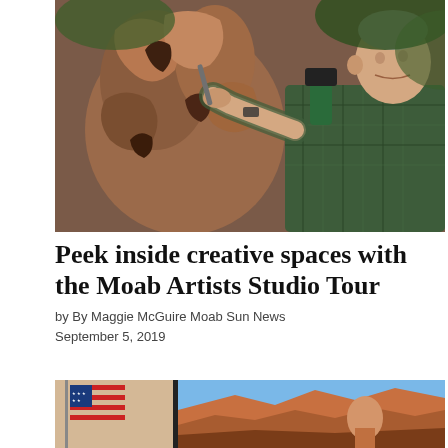[Figure (photo): An elderly man in a green plaid shirt uses a mallet and chisel to carve a large reddish-brown wooden sculpture outdoors, with greenery in the background.]
Peek inside creative spaces with the Moab Artists Studio Tour
by By Maggie McGuire Moab Sun News
September 5, 2019
[Figure (photo): Partial view of artwork including an American flag and a landscape painting with canyon scenery.]